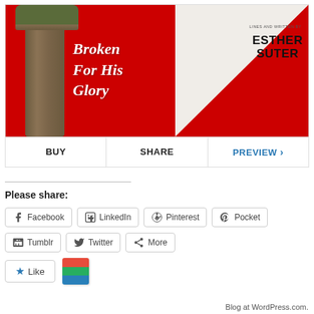[Figure (illustration): Book cover for 'Broken For His Glory' by Esther Suter. Red background with a wooden cross/post illustration on the left, white triangle in upper right corner. Title text in italic white serif font, author name in bold black sans-serif.]
BUY   SHARE   PREVIEW >
Please share:
Facebook  LinkedIn  Pinterest  Pocket  Tumblr  Twitter  More
Like
Blog at WordPress.com.